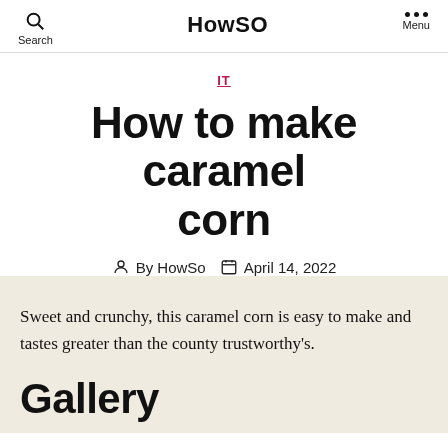HowSO
IT
How to make caramel corn
By HowSo  April 14, 2022
Sweet and crunchy, this caramel corn is easy to make and tastes greater than the county trustworthy's.
Gallery